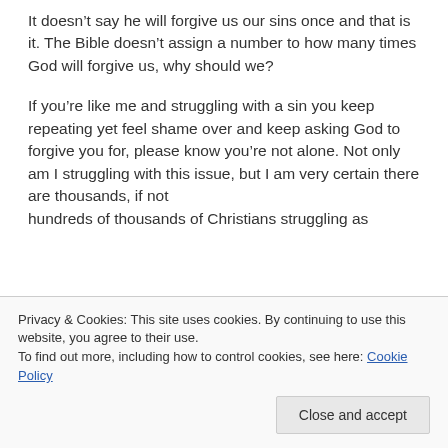It doesn't say he will forgive us our sins once and that is it. The Bible doesn't assign a number to how many times God will forgive us, why should we?
If you're like me and struggling with a sin you keep repeating yet feel shame over and keep asking God to forgive you for, please know you're not alone. Not only am I struggling with this issue, but I am very certain there are thousands, if not hundreds of thousands of Christians struggling as
Privacy & Cookies: This site uses cookies. By continuing to use this website, you agree to their use.
To find out more, including how to control cookies, see here: Cookie Policy